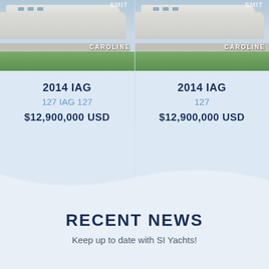[Figure (photo): Yacht named CAROLINE, 2014 IAG, side view on water, left card]
2014 IAG
127 IAG 127
$12,900,000 USD
[Figure (photo): Yacht named CAROLINE, 2014 IAG, side view on water, right card]
2014 IAG
127
$12,900,000 USD
RECENT NEWS
Keep up to date with SI Yachts!